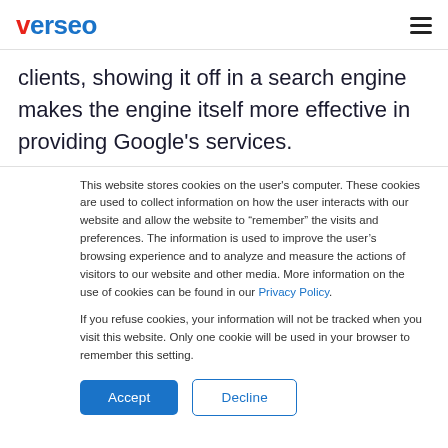verseo
clients, showing it off in a search engine makes the engine itself more effective in providing Google's services.
This website stores cookies on the user's computer. These cookies are used to collect information on how the user interacts with our website and allow the website to “remember” the visits and preferences. The information is used to improve the user’s browsing experience and to analyze and measure the actions of visitors to our website and other media. More information on the use of cookies can be found in our Privacy Policy.
If you refuse cookies, your information will not be tracked when you visit this website. Only one cookie will be used in your browser to remember this setting.